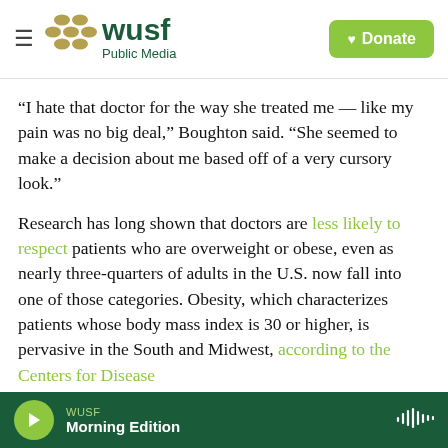WUSF Public Media — Donate
“I hate that doctor for the way she treated me — like my pain was no big deal,” Boughton said. “She seemed to make a decision about me based off of a very cursory look.”
Research has long shown that doctors are less likely to respect patients who are overweight or obese, even as nearly three-quarters of adults in the U.S. now fall into one of those categories. Obesity, which characterizes patients whose body mass index is 30 or higher, is pervasive in the South and Midwest, according to the Centers for Disease
WUSF Morning Edition